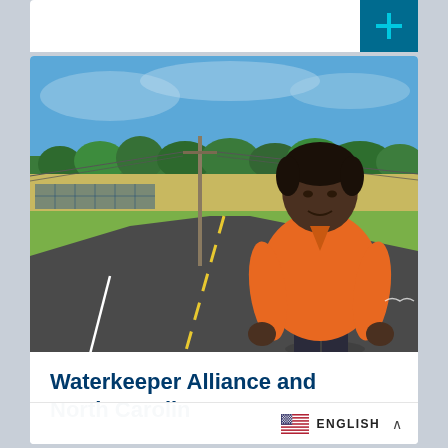[Figure (photo): A woman wearing an orange shirt stands beside a rural road with green grass, trees in the background, a utility pole, and blue sky above.]
Waterkeeper Alliance and North Carolina